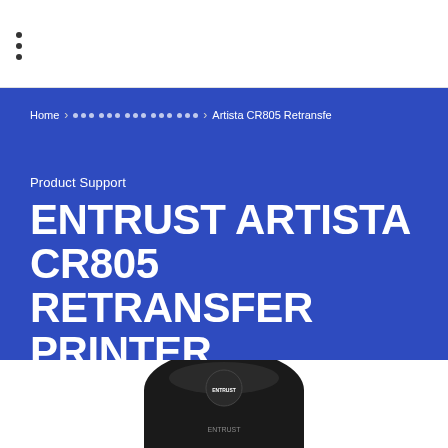Navigation bar with hamburger menu
Home › ••• ••• ••• ••• ••• › Artista CR805 Retransfe
Product Support
ENTRUST ARTISTA CR805 RETRANSFER PRINTER
[Figure (photo): Photo of Entrust Artista CR805 Retransfer Printer, a black card printer device with Entrust logo visible on top, partially cropped at bottom of page]